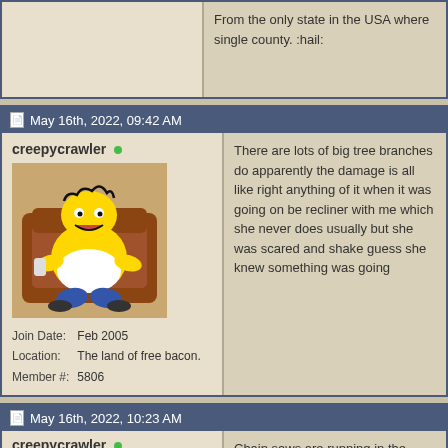From the only state in the USA where single county. :hail:
May 16th, 2022, 09:42 AM
creepycrawler
[Figure (illustration): Homer Simpson sitting in a recliner chair cartoon avatar]
Join Date: Feb 2005
Location: The land of free bacon.
Member #: 5806
There are lots of big tree branches d... apparently the damage is all like righ... anything of it when it was going on b... recliner with me which she never doe... usually but she was scared and shak... guess she knew something was goin...
May 16th, 2022, 10:23 AM
creepycrawler
Chain saws are running in the neigh... broke or fell down last night.